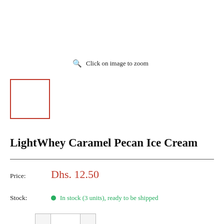Click on image to zoom
[Figure (other): Small thumbnail image placeholder box with red/orange border]
LightWhey Caramel Pecan Ice Cream
Price: Dhs. 12.50
Stock: In stock (3 units), ready to be shipped